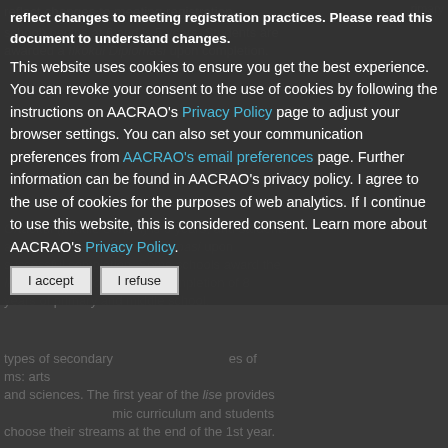reflect changes to meeting registration practices. Please read this document to understand changes.
This website uses cookies to ensure you get the best experience. You can revoke your consent to the use of cookies by following the instructions on AACRAO's Privacy Policy page to adjust your browser settings. You can also set your communication preferences from AACRAO's email preferences page. Further information can be found in AACRAO's privacy policy. I agree to the use of cookies for the purposes of web analytics. If I continue to use this website, this is considered consent. Learn more about AACRAO's Privacy Policy.
I accept  I refuse
school) begins at 6 and is 5 years. Students are awarded a Ilkokul Diplomasi upon completion.
Ortaokul (Middle School) is 3 years, and students are awarded a Ortaokul Diplomasi upon successful completion. Some schools award the IlkoOrteum Diplomasi after completion of 8 years of primary and middle school.
Click to get more types of secondary...